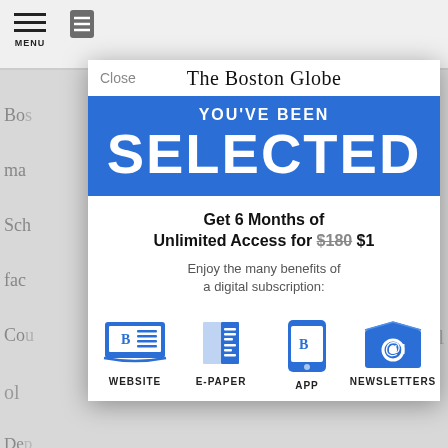[Figure (screenshot): Boston Globe website subscription modal overlay on top of a news article page. The modal shows 'YOU'VE BEEN SELECTED' in a blue banner, followed by an offer for 6 Months of Unlimited Access for $1 (regularly $180), and icons for WEBSITE, E-PAPER, APP, and NEWSLETTERS.]
The Boston Globe
YOU'VE BEEN
SELECTED
Get 6 Months of Unlimited Access for $180 $1
Enjoy the many benefits of a digital subscription:
WEBSITE
E-PAPER
APP
NEWSLETTERS